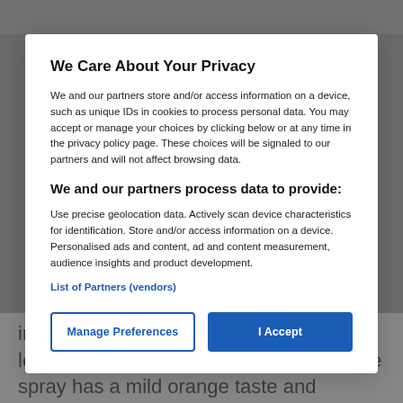We Care About Your Privacy
We and our partners store and/or access information on a device, such as unique IDs in cookies to process personal data. You may accept or manage your choices by clicking below or at any time in the privacy policy page. These choices will be signaled to our partners and will not affect browsing data.
We and our partners process data to provide:
Use precise geolocation data. Actively scan device characteristics for identification. Store and/or access information on a device. Personalised ads and content, ad and content measurement, audience insights and product development.
List of Partners (vendors)
Manage Preferences
I Accept
inactivating them, so that they can no longer reproduce or cause any harm. The spray has a mild orange taste and